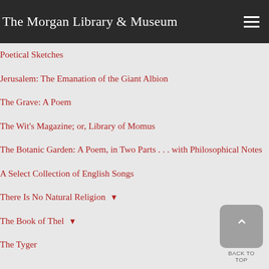The Morgan Library & Museum
Poetical Sketches
Jerusalem: The Emanation of the Giant Albion
The Grave: A Poem
The Wit's Magazine; or, Library of Momus
The Botanic Garden: A Poem, in Two Parts . . . with Philosophical Notes
A Select Collection of English Songs
There Is No Natural Religion ▾
The Book of Thel ▾
The Tyger